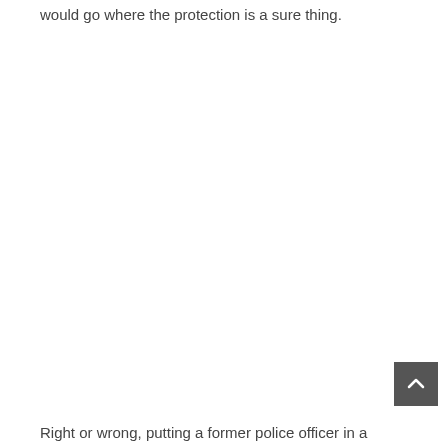would go where the protection is a sure thing.
Right or wrong, putting a former police officer in a